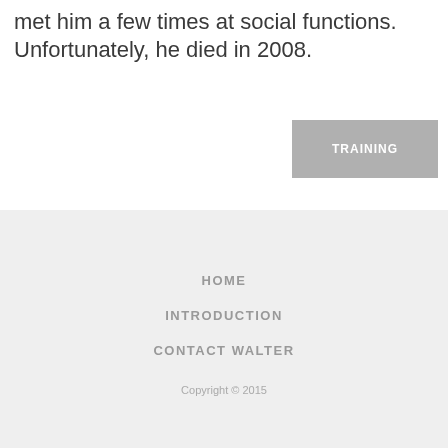met him a few times at social functions. Unfortunately, he died in 2008.
TRAINING
HOME
INTRODUCTION
CONTACT WALTER
Copyright © 2015